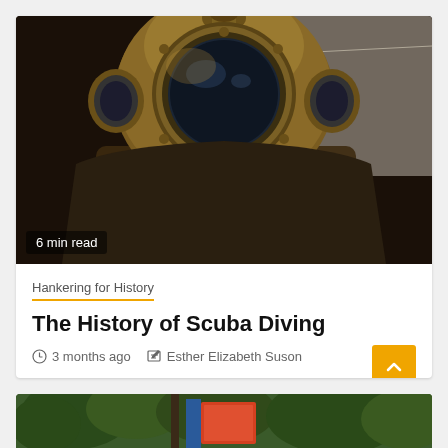[Figure (photo): Close-up photograph of an antique brass deep-sea diving helmet and suit with round porthole and leather body, dark industrial background]
6 min read
Hankering for History
The History of Scuba Diving
3 months ago   Esther Elizabeth Suson
[Figure (photo): Partial view of next article image showing trees and an orange/red sign]